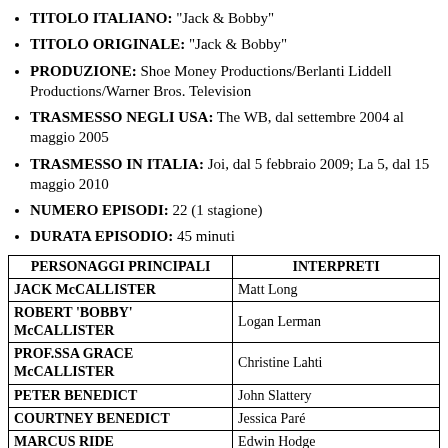TITOLO ITALIANO: "Jack & Bobby"
TITOLO ORIGINALE: "Jack & Bobby"
PRODUZIONE: Shoe Money Productions/Berlanti Liddell Productions/Warner Bros. Television
TRASMESSO NEGLI USA: The WB, dal settembre 2004 al maggio 2005
TRASMESSO IN ITALIA: Joi, dal 5 febbraio 2009; La 5, dal 15 maggio 2010
NUMERO EPISODI: 22 (1 stagione)
DURATA EPISODIO: 45 minuti
| PERSONAGGI PRINCIPALI | INTERPRETI |
| --- | --- |
| JACK McCALLISTER | Matt Long |
| ROBERT 'BOBBY' McCALLISTER | Logan Lerman |
| PROF.SSA GRACE McCALLISTER | Christine Lahti |
| PETER BENEDICT | John Slattery |
| COURTNEY BENEDICT | Jessica Paré |
| MARCUS RIDE | Edwin Hodge |
| MISSY BELKNAP | Keri Lynn Pratt |
| RANDY BONGARD | Cam Gigandet |